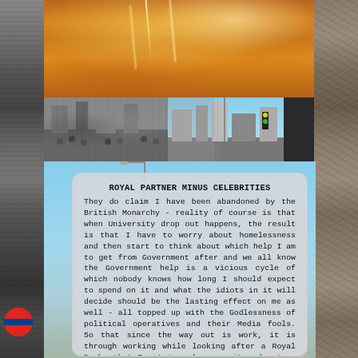[Figure (photo): Collage of photographs: golden/orange dramatic cloudscape with light rays at top, black and white crowd photo, street city photo with traffic light, blue sky with street lamp and buildings, left strip with monochrome ruins/crowd images, right strip with rock/stone texture]
ROYAL PARTNER MINUS CELEBRITIES
They do claim I have been abandoned by the British Monarchy - reality of course is that when University drop out happens, the result is that I have to worry about homelessness and then start to think about which help I am to get from Government after and we all know the Government help is a vicious cycle of which nobody knows how long I should expect to spend on it and what the idiots in it will decide should be the lasting effect on me as well - all topped up with the Godlessness of political operatives and their Media fools. So that since the way out is work, it is through working while looking after a Royal Duchy that I get to make my exit and return to normalcy. If people fail to understand my